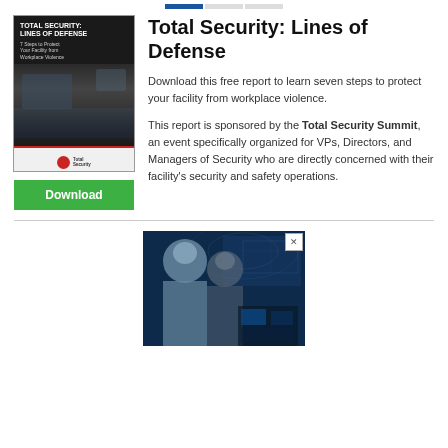navigation tabs
[Figure (illustration): Book cover for 'Total Security: Lines of Defense - 7 Steps to Protect Your Facility from Workplace Violence' with dark background, security camera room image, and Total Security logo at bottom]
Total Security: Lines of Defense
Download this free report to learn seven steps to protect your facility from workplace violence.
This report is sponsored by the Total Security Summit, an event specifically organized for VPs, Directors, and Managers of Security who are directly concerned with their facility's security and safety operations.
[Figure (photo): Advertisement image showing two people (a woman and a man) in a security operations center with blue lighting, world map, and monitors in background]